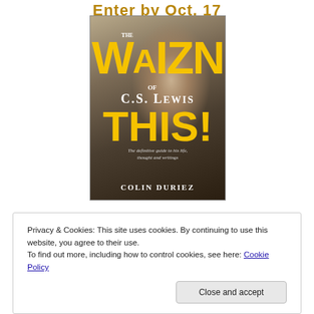Enter by Oct. 17
[Figure (illustration): Book cover of 'The Wizard of C.S. Lewis: The definitive guide to his life, thought and writings' by Colin Duriez. Cover shows large yellow text 'WIN THIS!' overlaid on a sepia-toned photo of a man, with white text 'The Wizard of C.S. Lewis' and subtitle in italic.]
Privacy & Cookies: This site uses cookies. By continuing to use this website, you agree to their use.
To find out more, including how to control cookies, see here: Cookie Policy
Close and accept